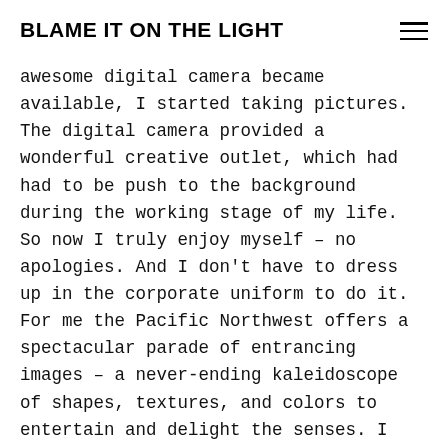BLAME IT ON THE LIGHT
awesome digital camera became available, I started taking pictures.  The digital camera provided a wonderful creative outlet, which had had to be push to the background during the working stage of my life.  So now I truly enjoy myself – no apologies.  And I don't have to dress up in the corporate uniform to do it.  For me the Pacific Northwest offers a spectacular parade of entrancing images – a never-ending kaleidoscope of shapes, textures, and colors to entertain and delight the senses.  I find Nature in all forms – landscapes, seascapes, wildlife, birds, – to be perfectly beautiful just as She is without any artificial enhancements  Through my photography I attempt to capture and render Nature as  simply and